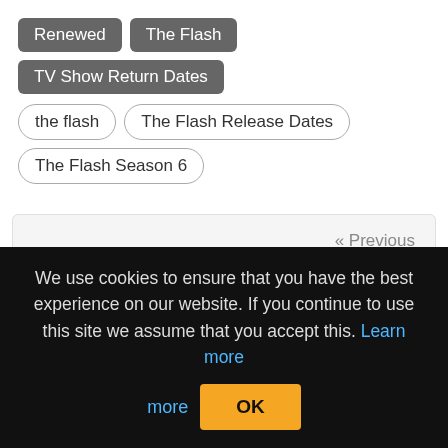Renewed
The Flash
TV Show Return Dates
the flash
The Flash Release Dates
The Flash Season 6
« Previous
When Does Home Alone Season 3 Start On ID? Premiere Date Release
We use cookies to ensure that you have the best experience on our website. If you continue to use this site we assume that you accept this. Learn more  OK